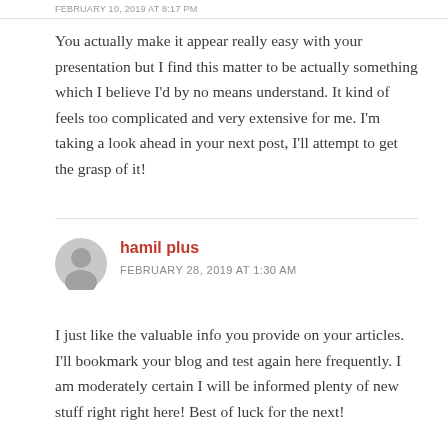FEBRUARY 10, 2019 AT 8:17 PM
You actually make it appear really easy with your presentation but I find this matter to be actually something which I believe I'd by no means understand. It kind of feels too complicated and very extensive for me. I'm taking a look ahead in your next post, I'll attempt to get the grasp of it!
hamil plus
FEBRUARY 28, 2019 AT 1:30 AM
I just like the valuable info you provide on your articles. I'll bookmark your blog and test again here frequently. I am moderately certain I will be informed plenty of new stuff right right here! Best of luck for the next!